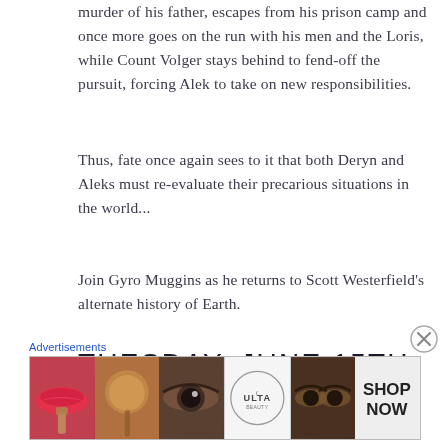murder of his father, escapes from his prison camp and once more goes on the run with his men and the Loris, while Count Volger stays behind to fend-off the pursuit, forcing Alek to take on new responsibilities.
Thus, fate once again sees to it that both Deryn and Aleks must re-evaluate their precarious situations in the world...
Join Gyro Muggins as he returns to Scott Westerfield's alternate history of Earth.
TUESDAY, JUNE 15TH
[Figure (other): Advertisements banner for ULTA beauty showing makeup images — lips with brush, eye with makeup, ULTA logo, eyes, and SHOP NOW call-to-action]